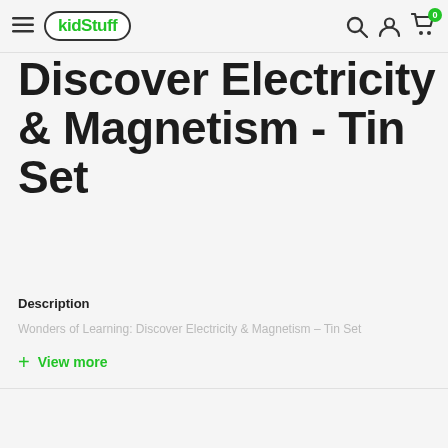kidStuff
Discover Electricity & Magnetism - Tin Set
Description
Wonders of Learning: Discover Electricity & Magnetism – Tin Set
+ View more